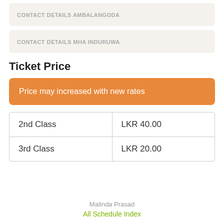CONTACT DETAILS AMBALANGODA
CONTACT DETAILS MHA INDURUWA
Ticket Price
Price may increased with new rates
| 2nd Class | LKR 40.00 |
| 3rd Class | LKR 20.00 |
Malinda Prasad
All Schedule Index